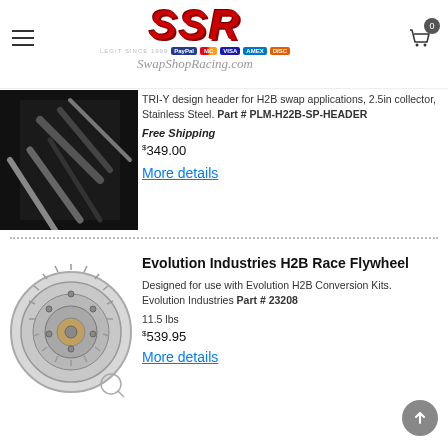SwapShopRacing.com
[Figure (photo): Partial product image of TRI-Y header, dark background]
TRI-Y design header for H2B swap applications, 2.5in collector, Stainless Steel. Part # PLM-H22B-SP-HEADER
Free Shipping
$349.00
More details
[Figure (photo): Evolution Industries H2B Race Flywheel — silver metal flywheel on white background]
Evolution Industries H2B Race Flywheel
Designed for use with Evolution H2B Conversion Kits. Evolution Industries Part # 23208
11.5 lbs
$539.95
More details